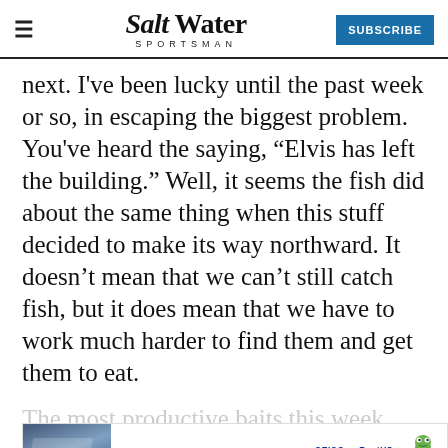Salt Water Sportsman | SUBSCRIBE
next.  I've been lucky until the past week or so, in escaping the biggest problem.  You've heard the saying, “Elvis has left the building.”  Well, it seems the fish did about the same thing when this stuff decided to make its way northward.  It doesn’t mean that we can’t still catch fish, but it does mean that we have to work much harder to find them and get them to eat.
The most productive baits this week have been... quarter-ounce DOA night glow shrimp.
[Figure (infographic): GEICO BoatUS advertisement banner with boat image, text reading GREAT RATES COMING AT YOU! and QUOTE NOW button, and gecko mascot. Close button (X) in upper right.]